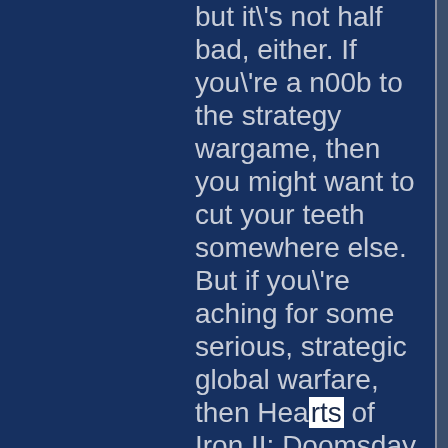but it's not half bad, either. If you're a n00b to the strategy wargame, then you might want to cut your teeth somewhere else. But if you're aching for some serious, strategic global warfare, then Hearts of Iron II: Doomsday might be worth your